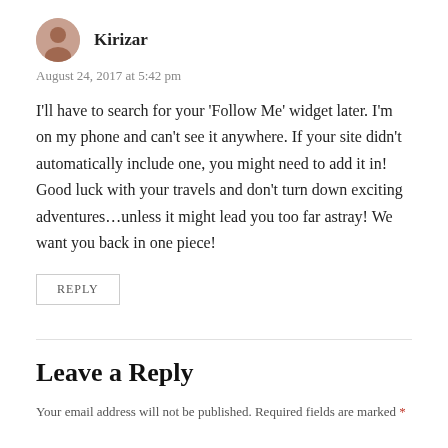Kirizar
August 24, 2017 at 5:42 pm
I'll have to search for your 'Follow Me' widget later. I'm on my phone and can't see it anywhere. If your site didn't automatically include one, you might need to add it in! Good luck with your travels and don't turn down exciting adventures…unless it might lead you too far astray! We want you back in one piece!
REPLY
Leave a Reply
Your email address will not be published. Required fields are marked *